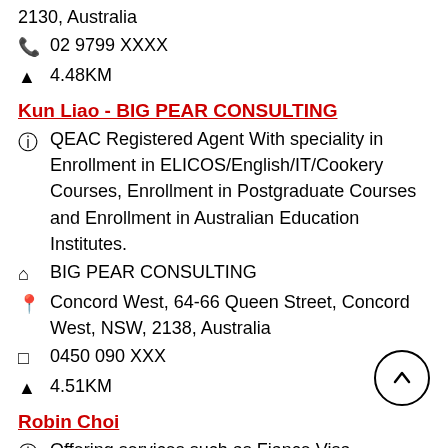2130, Australia
02 9799 XXXX
4.48KM
Kun Liao - BIG PEAR CONSULTING
QEAC Registered Agent With speciality in Enrollment in ELICOS/English/IT/Cookery Courses, Enrollment in Postgraduate Courses and Enrollment in Australian Education Institutes.
BIG PEAR CONSULTING
Concord West, 64-66 Queen Street, Concord West, NSW, 2138, Australia
0450 090 XXX
4.51KM
Robin Choi
Offering services such as Fiance Visa, Changing University, Student Services, Graduate Visa and College Enrollment.
KOREAN EDUCATION INFORMATION CENTRE